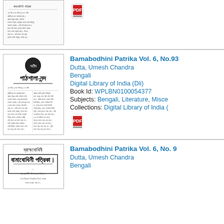[Figure (illustration): Thumbnail of a Bengali manuscript/book page, first entry (partially visible at top)]
[Figure (illustration): PDF icon for first entry]
Bamabodhini Patrika Vol. 6, No.93
Dutta, Umesh Chandra
Bengali
Digital Library of India (Dli)
Book Id: WPLBN0100054377
Subjects: Bengali, Literature, Misce
Collections: Digital Library of India (
[Figure (illustration): PDF icon for second entry]
[Figure (illustration): Thumbnail of Bengali patrika book cover, third entry (partially visible at bottom)]
Bamabodhini Patrika Vol. 6, No. 9
Dutta, Umesh Chandra
Bengali